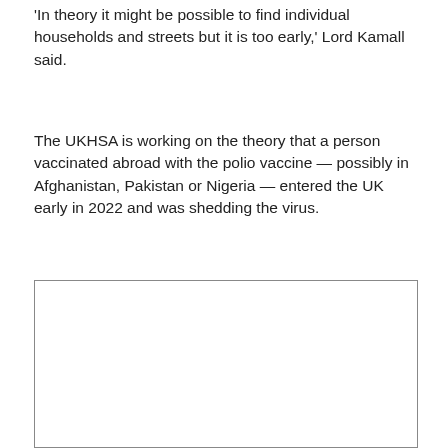'In theory it might be possible to find individual households and streets but it is too early,' Lord Kamall said.
The UKHSA is working on the theory that a person vaccinated abroad with the polio vaccine — possibly in Afghanistan, Pakistan or Nigeria — entered the UK early in 2022 and was shedding the virus.
[Figure (other): Empty rectangular box placeholder for an image or figure, outlined with a thin border.]